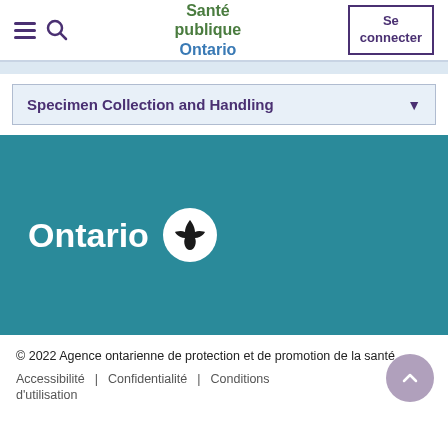Santé publique Ontario — Se connecter
Specimen Collection and Handling
[Figure (logo): Ontario government logo with trillium symbol on teal background]
© 2022 Agence ontarienne de protection et de promotion de la santé
Accessibilité | Confidentialité | Conditions d'utilisation